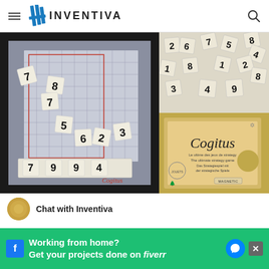INVENTIVA
[Figure (photo): Cogitus sudoku board game with numbered tiles arranged on a framed grid, showing numbers 7, 8, 7, 5, 6, 2, 3 and bottom row 7 9 9 4, with Cogitus branding]
[Figure (photo): Scattered numbered game tiles on beige background showing various digits]
[Figure (photo): Cogitus game box in kraft cardboard with cursive Cogitus logo and MAGNETIC label]
Chat with Inventiva
Working from home? Get your projects done on fiverr